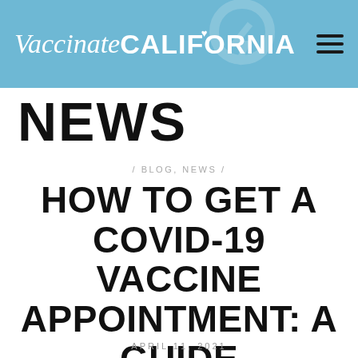VaccinateCALIFORNIA
NEWS
/ BLOG, NEWS /
HOW TO GET A COVID-19 VACCINE APPOINTMENT: A GUIDE
APRIL 11, 2021